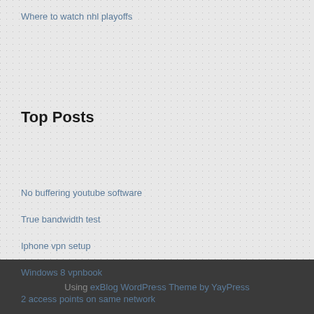Where to watch nhl playoffs
Top Posts
No buffering youtube software
True bandwidth test
Iphone vpn setup
Windows 8 vpnbook
2 access points on same network
Using exBlog WordPress Theme by YayPress